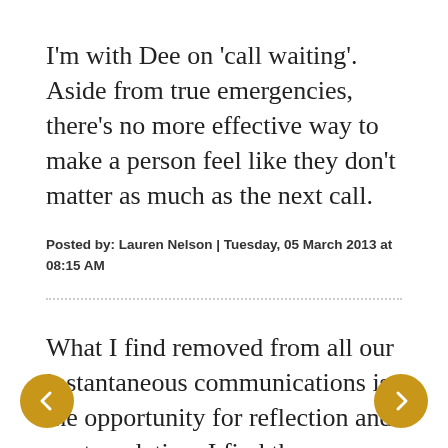I'm with Dee on 'call waiting'. Aside from true emergencies, there's no more effective way to make a person feel like they don't matter as much as the next call.
Posted by: Lauren Nelson | Tuesday, 05 March 2013 at 08:15 AM
What I find removed from all our instantaneous communications is the opportunity for reflection and contemplation. I find the considered